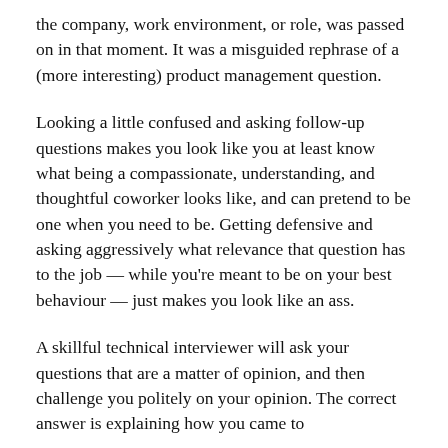the company, work environment, or role, was passed on in that moment. It was a misguided rephrase of a (more interesting) product management question.
Looking a little confused and asking follow-up questions makes you look like you at least know what being a compassionate, understanding, and thoughtful coworker looks like, and can pretend to be one when you need to be. Getting defensive and asking aggressively what relevance that question has to the job — while you're meant to be on your best behaviour — just makes you look like an ass.
A skillful technical interviewer will ask your questions that are a matter of opinion, and then challenge you politely on your opinion. The correct answer is explaining how you came to